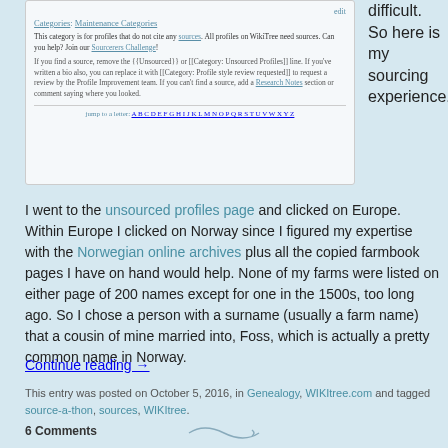[Figure (screenshot): Screenshot of a WikiTree page showing Categories: Maintenance Categories, description of unsourced profiles category, and a jump-to-letter navigation bar.]
difficult. So here is my sourcing experience.
I went to the unsourced profiles page and clicked on Europe. Within Europe I clicked on Norway since I figured my expertise with the Norwegian online archives plus all the copied farmbook pages I have on hand would help. None of my farms were listed on either page of 200 names except for one in the 1500s, too long ago. So I chose a person with a surname (usually a farm name) that a cousin of mine married into, Foss, which is actually a pretty common name in Norway.
Continue reading →
This entry was posted on October 5, 2016, in Genealogy, WIKItree.com and tagged source-a-thon, sources, WIKItree.
6 Comments